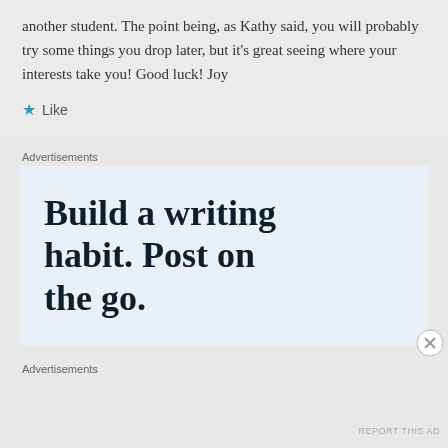another student. The point being, as Kathy said, you will probably try some things you drop later, but it's great seeing where your interests take you! Good luck! Joy
★ Like
Advertisements
[Figure (other): Advertisement banner with text: Build a writing habit. Post on the go.]
Advertisements